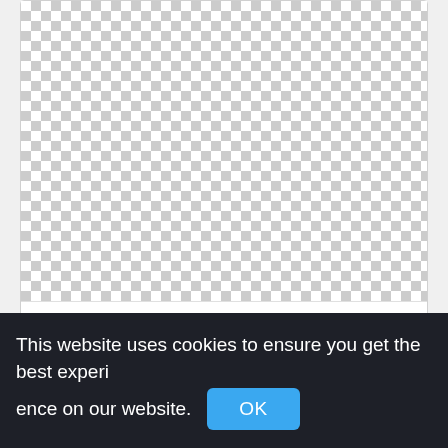[Figure (other): Checkerboard transparency pattern representing a PNG image placeholder]
Doctor Home, Indian Doctor,doctor strange png
803x1001px
[Figure (other): Checkerboard transparency pattern representing a second PNG image placeholder]
This website uses cookies to ensure you get the best experience on our website.